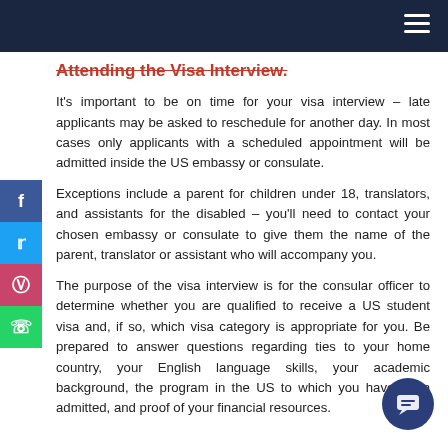Attending the Visa Interview.
It's important to be on time for your visa interview – late applicants may be asked to reschedule for another day. In most cases only applicants with a scheduled appointment will be admitted inside the US embassy or consulate.
Exceptions include a parent for children under 18, translators, and assistants for the disabled – you'll need to contact your chosen embassy or consulate to give them the name of the parent, translator or assistant who will accompany you.
The purpose of the visa interview is for the consular officer to determine whether you are qualified to receive a US student visa and, if so, which visa category is appropriate for you. Be prepared to answer questions regarding ties to your home country, your English language skills, your academic background, the program in the US to which you have been admitted, and proof of your financial resources.